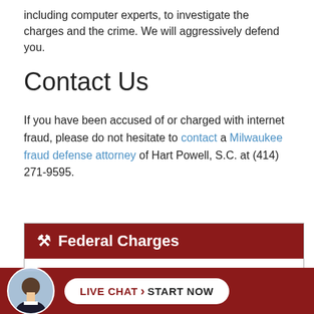including computer experts, to investigate the charges and the crime. We will aggressively defend you.
Contact Us
If you have been accused of or charged with internet fraud, please do not hesitate to contact a Milwaukee fraud defense attorney of Hart Powell, S.C. at (414) 271-9595.
Federal Charges
Bank and Mail Fraud
Drug Trafficking and Conspiracies
Gun Crimes
Internet Sex Crimes